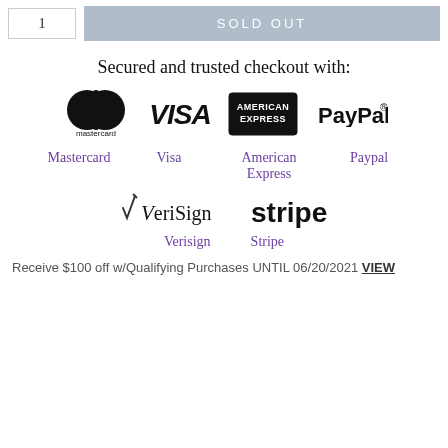1
SOLD OUT
Secured and trusted checkout with:
[Figure (logo): Mastercard logo (two overlapping circles, black), with text 'mastercard' below. Visa logo in italic serif. American Express logo in rectangle. PayPal logo in bold sans-serif.]
Mastercard   Visa   American Express   Paypal
[Figure (logo): VeriSign logo with stylized checkmark pen. Stripe logo in bold sans-serif.]
Verisign   Stripe
Receive $100 off w/Qualifying Purchases UNTIL 06/20/2021 VIEW